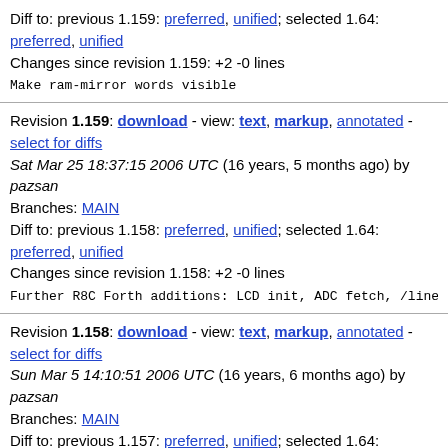Diff to: previous 1.159: preferred, unified; selected 1.64: preferred, unified
Changes since revision 1.159: +2 -0 lines
Make ram-mirror words visible
Revision 1.159: download - view: text, markup, annotated - select for diffs
Sat Mar 25 18:37:15 2006 UTC (16 years, 5 months ago) by pazsan
Branches: MAIN
Diff to: previous 1.158: preferred, unified; selected 1.64: preferred, unified
Changes since revision 1.158: +2 -0 lines
Further R8C Forth additions: LCD init, ADC fetch, /line I
Revision 1.158: download - view: text, markup, annotated - select for diffs
Sun Mar 5 14:10:51 2006 UTC (16 years, 6 months ago) by pazsan
Branches: MAIN
Diff to: previous 1.157: preferred, unified; selected 1.64: preferred, unified
Changes since revision 1.157: +3 -1 lines